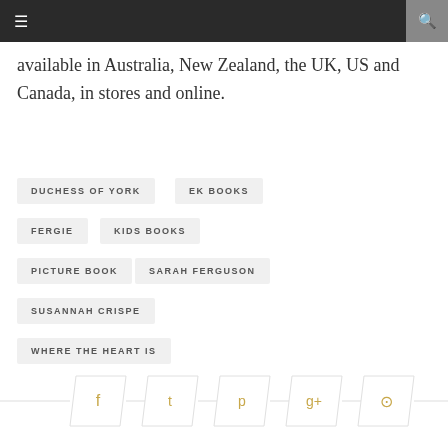Navigation header with menu and search
available in Australia, New Zealand, the UK, US and Canada, in stores and online.
DUCHESS OF YORK
EK BOOKS
FERGIE
KIDS BOOKS
PICTURE BOOK
SARAH FERGUSON
SUSANNAH CRISPE
WHERE THE HEART IS
[Figure (infographic): Social sharing buttons: Facebook, Twitter, Pinterest, Google+, Comment — styled as skewed parallelogram buttons with gold icons and horizontal lines on sides]